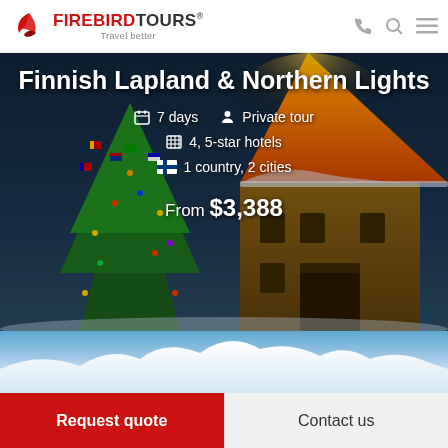FIREBIRDTOURS® Travel better
[Figure (photo): Winter scene showing decorated Christmas tree with flags and a snow-covered wooden building with glowing roof against a dark blue evening sky. Tour title overlay: Finnish Lapland & Northern Lights. Details: 7 days, Private tour, 4, 5-star hotels, 1 country, 2 cities. From $3,388]
Finnish Lapland & Northern Lights
7 days   Private tour
4, 5-star hotels
1 country, 2 cities
From $3,388
[Figure (photo): Blue sky with wispy clouds over snow-covered mountain peaks landscape]
Request quote
Contact us